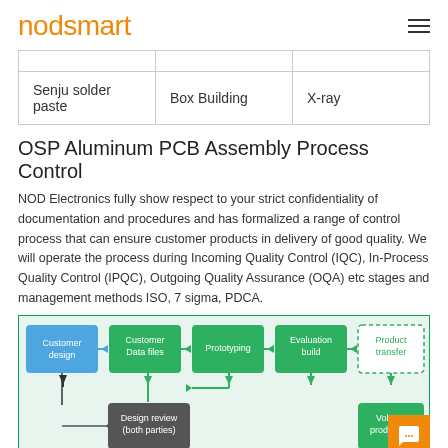nodsmart
|  |  |  |
| Senju solder paste | Box Building | X-ray |
OSP Aluminum PCB Assembly Process Control
NOD Electronics fully show respect to your strict confidentiality of documentation and procedures and has formalized a range of control process that can ensure customer products in delivery of good quality. We will operate the process during Incoming Quality Control (IQC), In-Process Quality Control (IPQC), Outgoing Quality Assurance (OQA) etc stages and management methods ISO, 7 sigma, PDCA.
[Figure (flowchart): Process flowchart showing: Customer design → Customer Data files → Prototyping → Evaluation build → Product transfer (dashed), and below: Design review (both parties) leading back, with Volume production at bottom right.]